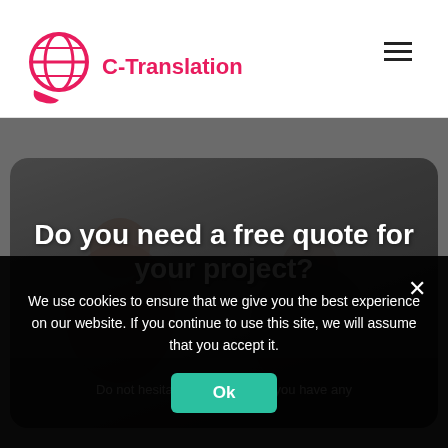[Figure (logo): C-Translation logo: pink globe icon with speech bubble base, followed by pink text 'C-Translation']
[Figure (other): Hamburger menu icon (three horizontal lines) in top right corner]
Do you need a free quote for your project?
Do not hesitate to contact us if you have any
We use cookies to ensure that we give you the best experience on our website. If you continue to use this site, we will assume that you accept it.